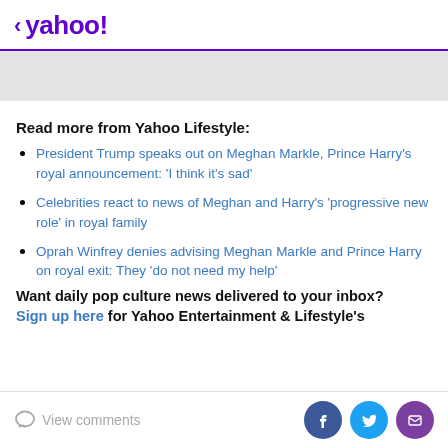< yahoo!
[Figure (other): Gray advertisement/image placeholder bar]
Read more from Yahoo Lifestyle:
President Trump speaks out on Meghan Markle, Prince Harry's royal announcement: 'I think it's sad'
Celebrities react to news of Meghan and Harry's 'progressive new role' in royal family
Oprah Winfrey denies advising Meghan Markle and Prince Harry on royal exit: They 'do not need my help'
Want daily pop culture news delivered to your inbox? Sign up here for Yahoo Entertainment & Lifestyle's
View comments